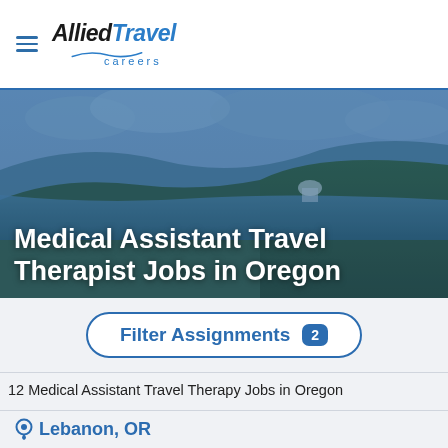Allied Travel Careers
[Figure (photo): Scenic Oregon landscape with river, forested hills, and cloudy sky with blue tint overlay]
Medical Assistant Travel Therapist Jobs in Oregon
Filter Assignments 2
12 Medical Assistant Travel Therapy Jobs in Oregon
Lebanon, OR